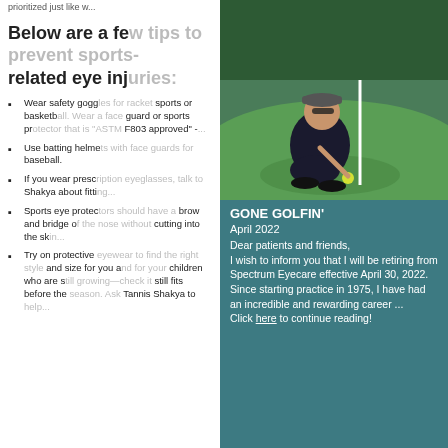prioritized just like w...
Below are a fe... related eye inj...
Wear safety gogg... sports or basketb... guard or sports pr... F803 approved" -...
Use batting helme... baseball.
If you wear presc... Shakya about fitti...
Sports eye protec... brow and bridge d... cutting into the sk...
Try on protective... and size for you a... children who are s... still fits before the... Tannis Shakya to...
[Figure (photo): Man crouching on a golf course green, holding a golf ball near the hole with a flag stick, wearing a dark polo shirt and visor with sunglasses.]
GONE GOLFIN'
April 2022
Dear patients and friends,
I wish to inform you that I will be retiring from Spectrum Eyecare effective April 30, 2022. Since starting practice in 1975, I have had an incredible and rewarding career ...
Click here to continue reading!